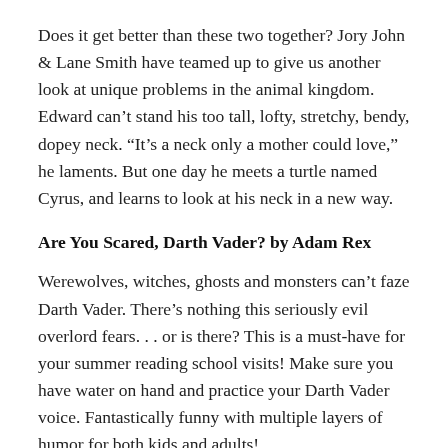Does it get better than these two together? Jory John & Lane Smith have teamed up to give us another look at unique problems in the animal kingdom. Edward can't stand his too tall, lofty, stretchy, bendy, dopey neck. “It’s a neck only a mother could love,” he laments. But one day he meets a turtle named Cyrus, and learns to look at his neck in a new way.
Are You Scared, Darth Vader? by Adam Rex
Werewolves, witches, ghosts and monsters can’t faze Darth Vader. There’s nothing this seriously evil overlord fears. . . or is there? This is a must-have for your summer reading school visits! Make sure you have water on hand and practice your Darth Vader voice. Fantastically funny with multiple layers of humor for both kids and adults!